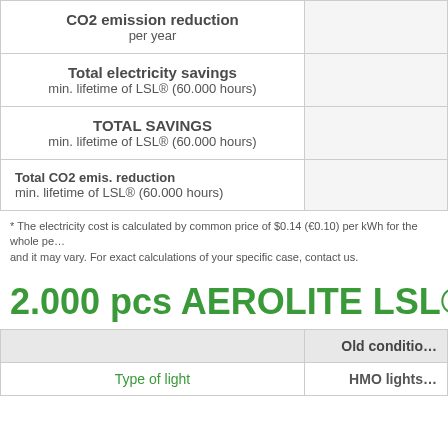|  | Old conditions |
| --- | --- |
| CO2 emission reduction
per year |  |
| Total electricity savings
min. lifetime of LSL® (60.000 hours) |  |
| TOTAL SAVINGS
min. lifetime of LSL® (60.000 hours) |  |
| Total CO2 emis. reduction
min. lifetime of LSL® (60.000 hours) |  |
* The electricity cost is calculated by common price of $0.14 (€0.10) per kWh for the whole pe... and it may vary. For exact calculations of your specific case, contact us.
2.000 pcs AEROLITE LSL®30 SOLUTION
|  | Old conditions |
| --- | --- |
| Type of light | HMO lights |